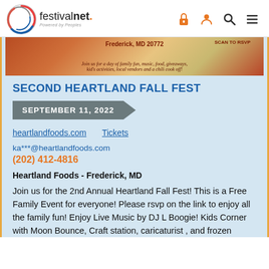festivalnet. Powered by Peoples
[Figure (photo): Partial banner image for Heartland Fall Fest event showing text: Frederick, MD 20772, SCAN TO RSVP, Join us for a day of family fun, music, food, giveaways, kid's activities, local vendors and a chili cook off!]
SECOND HEARTLAND FALL FEST
SEPTEMBER 11, 2022
heartlandfoods.com   Tickets
ka***@heartlandfoods.com
(202) 412-4816
Heartland Foods - Frederick, MD
Join us for the 2nd Annual Heartland Fall Fest! This is a Free Family Event for everyone! Please rsvp on the link to enjoy all the family fun! Enjoy Live Music by DJ L Boogie! Kids Corner with Moon Bounce, Craft station, caricaturist , and frozen